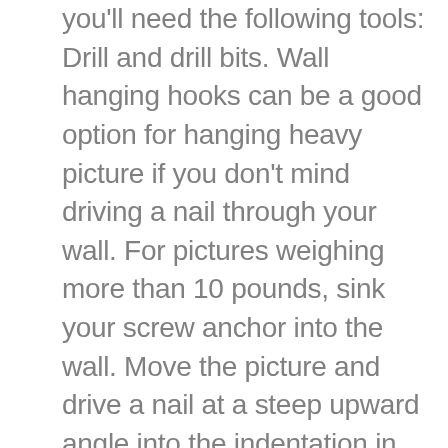you'll need the following tools: Drill and drill bits. Wall hanging hooks can be a good option for hanging heavy picture if you don't mind driving a nail through your wall. For pictures weighing more than 10 pounds, sink your screw anchor into the wall. Move the picture and drive a nail at a steep upward angle into the indentation in the wall Before, I was always the girl that did her damnedest to find a wall stud behind the drywall to hang heavy pictures, mirrors, etc. The best way to safely hang a heavy picture on drywall is to use a stud finder. Has your successful picture hanging inspired you to do more? This method is appropriate for most framed art in the home. In 2008, Clint founded Pro Tool Reviews followed by the landscape and outdoor power equipment-focused OPE Reviews in 2017. He has a degree in recording engineering and has been involved in multimedia and/or online publishing in